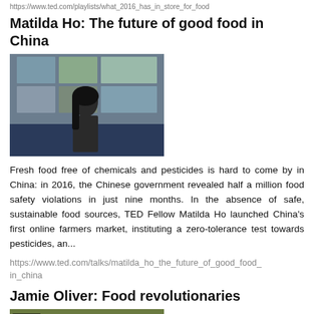https://www.ted.com/playlists/what_2016_has_in_store_for_food
Matilda Ho: The future of good food in China
[Figure (photo): Photo of Matilda Ho speaking on a TED stage with a screen showing food images behind her]
Fresh food free of chemicals and pesticides is hard to come by in China: in 2016, the Chinese government revealed half a million food safety violations in just nine months. In the absence of safe, sustainable food sources, TED Fellow Matilda Ho launched China's first online farmers market, instituting a zero-tolerance test towards pesticides, an...
https://www.ted.com/talks/matilda_ho_the_future_of_good_food_in_china
Jamie Oliver: Food revolutionaries
[Figure (photo): Photo thumbnail of Jamie Oliver Food Revolutionaries TED talk with GREAT BIG STORY TED logo overlay and people in a garden]